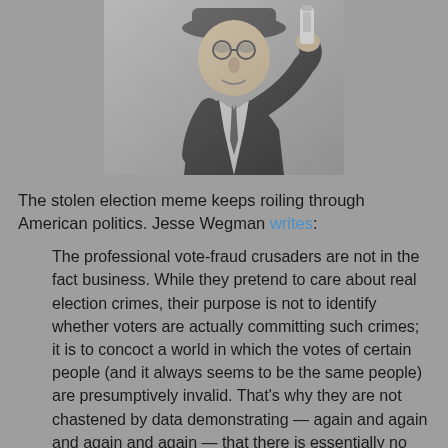[Figure (photo): Black and white photograph of an older man in a suit and hat holding up a small bottle or container close to his face, examining it]
The stolen election meme keeps roiling through American politics. Jesse Wegman writes:
The professional vote-fraud crusaders are not in the fact business. While they pretend to care about real election crimes, their purpose is not to identify whether voters are actually committing such crimes; it is to concoct a world in which the votes of certain people (and it always seems to be the same people) are presumptively invalid. That's why they are not chastened by data demonstrating — again and again and again and again — that there is essentially no voter fraud anywhere in this country.
Thanks to their efforts, about three quarters of Republicans believe the 2020 election was